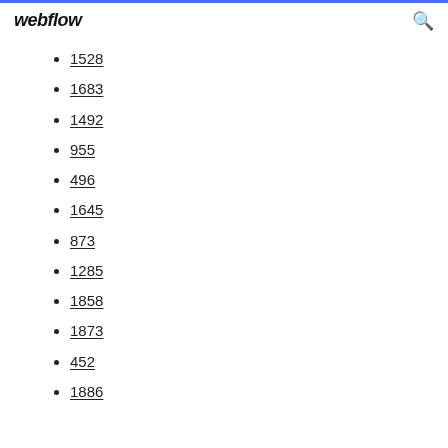webflow
1528
1683
1492
955
496
1645
873
1285
1858
1873
452
1886